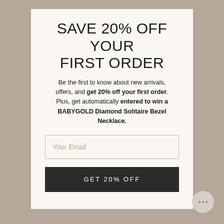SAVE 20% OFF YOUR FIRST ORDER
Be the first to know about new arrivals, offers, and get 20% off your first order. Plus, get automatically entered to win a BABYGOLD Diamond Solitaire Bezel Necklace.
Your Email
GET 20% OFF